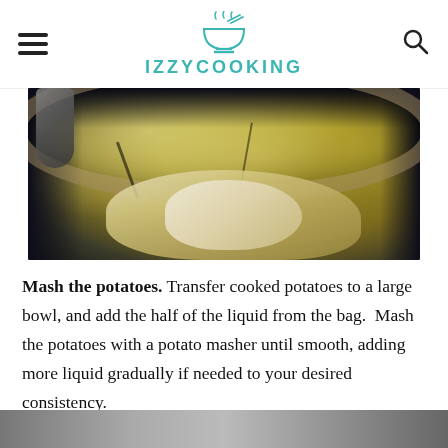IZZYCOOKING
[Figure (photo): A stand mixer bowl containing mashed potatoes being mixed, viewed from above. The bowl shows golden/yellow potato mixture with dark streaks.]
Mash the potatoes. Transfer cooked potatoes to a large bowl, and add the half of the liquid from the bag. Mash the potatoes with a potato masher until smooth, adding more liquid gradually if needed to your desired consistency.
[Figure (photo): Bottom strip of another photo, partially visible]